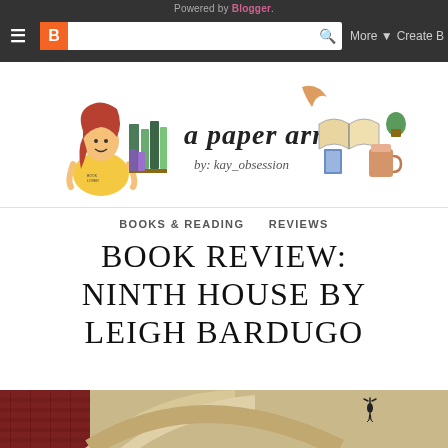Powered by Blogger.
[Figure (screenshot): Blogger toolbar with hamburger menu, Blogger icon, search bar with magnifying glass, More dropdown, and Create Blog button]
[Figure (logo): A Paper Arrow blog header logo with illustrated girl reading, books, and handwritten text 'a paper arrow by: kay_obsession']
BOOKS & READING   REVIEWS
BOOK REVIEW: NINTH HOUSE BY LEIGH BARDUGO
[Figure (photo): Photo of stone arched architecture (gothic building exterior) with a small bird silhouette on the wall]